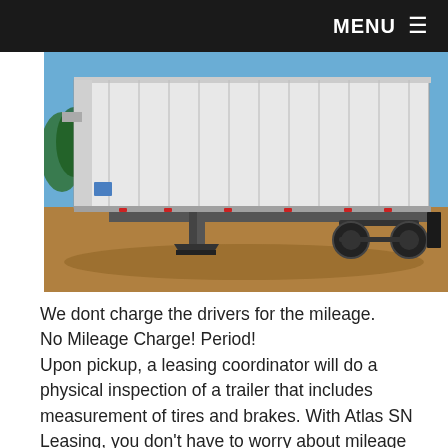MENU ≡
[Figure (photo): Side view of a large white semi-trailer (box trailer) parked on a dirt/gravel lot with a blue sky background. The trailer is white with vertical ribbing and sits on dual rear axles with black tires. A landing gear support leg is visible beneath the front of the trailer.]
We dont charge the drivers for the mileage. No Mileage Charge! Period!
Upon pickup, a leasing coordinator will do a physical inspection of a trailer that includes measurement of tires and brakes. With Atlas SN Leasing, you don't have to worry about mileage